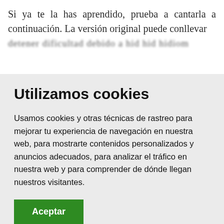Si ya te la has aprendido, prueba a cantarla a continuación. La versión original puede conllevar [blurred text]
Utilizamos cookies
Usamos cookies y otras técnicas de rastreo para mejorar tu experiencia de navegación en nuestra web, para mostrarte contenidos personalizados y anuncios adecuados, para analizar el tráfico en nuestra web y para comprender de dónde llegan nuestros visitantes.
Aceptar
Configurar